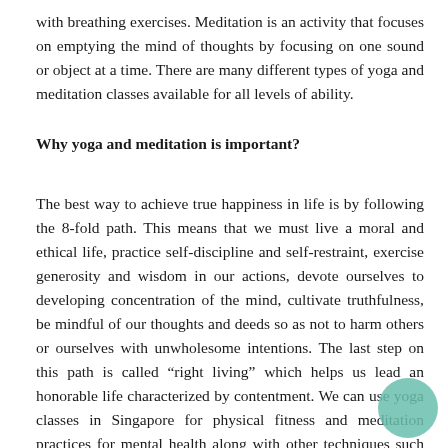with breathing exercises. Meditation is an activity that focuses on emptying the mind of thoughts by focusing on one sound or object at a time. There are many different types of yoga and meditation classes available for all levels of ability.
Why yoga and meditation is important?
The best way to achieve true happiness in life is by following the 8-fold path. This means that we must live a moral and ethical life, practice self-discipline and self-restraint, exercise generosity and wisdom in our actions, devote ourselves to developing concentration of the mind, cultivate truthfulness, be mindful of our thoughts and deeds so as not to harm others or ourselves with unwholesome intentions. The last step on this path is called “right living” which helps us lead an honorable life characterized by contentment. We can use yoga classes in Singapore for physical fitness and meditation practices for mental health along with other techniques such as Ayurveda treatments for both body and soul.